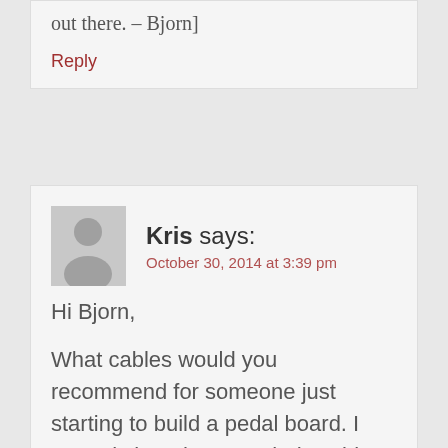out there. – Bjorn]
Reply
Kris says:
October 30, 2014 at 3:39 pm
Hi Bjorn,

What cables would you recommend for someone just starting to build a pedal board. I recently bought EA melody cables for my guitar and a siren II for my speaker. I was thinking of using